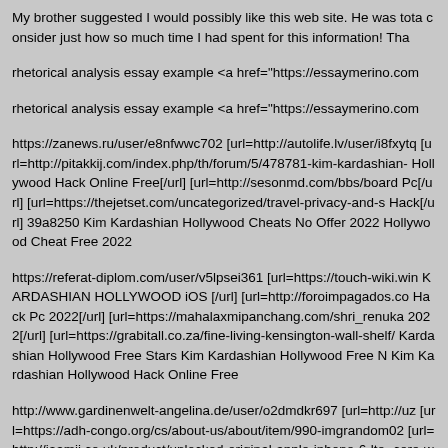My brother suggested I would possibly like this web site. He was tota consider just how so much time I had spent for this information! Tha
rhetorical analysis essay example <a href="https://essaymerino.com
rhetorical analysis essay example <a href="https://essaymerino.com
https://zanews.ru/user/e8nfwwc702 [url=http://autolife.lv/user/i8fxytq [url=http://pitakkij.com/index.php/th/forum/5/478781-kim-kardashian- Hollywood Hack Online Free[/url] [url=http://sesonmd.com/bbs/board Pc[/url] [url=https://thejetset.com/uncategorized/travel-privacy-and-s Hack[/url] 39a8250 Kim Kardashian Hollywood Cheats No Offer 2022 Hollywood Cheat Free 2022
https://referat-diplom.com/user/v5lpsei361 [url=https://touch-wiki.win KARDASHIAN HOLLYWOOD iOS [/url] [url=http://foroimpagados.co Hack Pc 2022[/url] [url=https://mahalaxmipanchang.com/shri_renuka 2022[/url] [url=https://grabitall.co.za/fine-living-kensington-wall-shelf/ Kardashian Hollywood Free Stars Kim Kardashian Hollywood Free N Kim Kardashian Hollywood Hack Online Free
http://www.gardinenwelt-angelina.de/user/o2dmdkr697 [url=http://uz [url=https://adh-congo.org/cs/about-us/about/item/990-imgrandom02 [url=http://jaamii.co.uk/product/unlocked-original-apple-iphone-6-lte- core-wifi-gps-mobile-phone/#comment-313245]Kim Kardashian Holl [url=https://luciapelomundo.com/index.php/belarus/#comment-10604